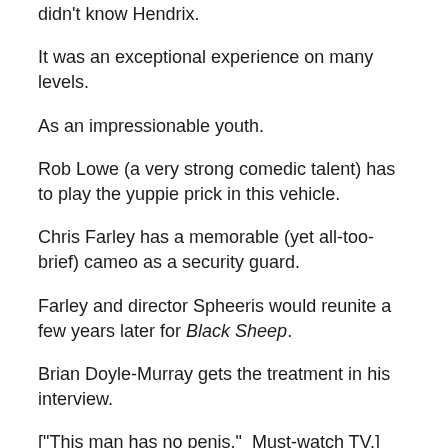didn't know Hendrix.
It was an exceptional experience on many levels.
As an impressionable youth.
Rob Lowe (a very strong comedic talent) has to play the yuppie prick in this vehicle.
Chris Farley has a memorable (yet all-too-brief) cameo as a security guard.
Farley and director Spheeris would reunite a few years later for Black Sheep.
Brian Doyle-Murray gets the treatment in his interview.
["This man has no penis."  Must-watch TV.]